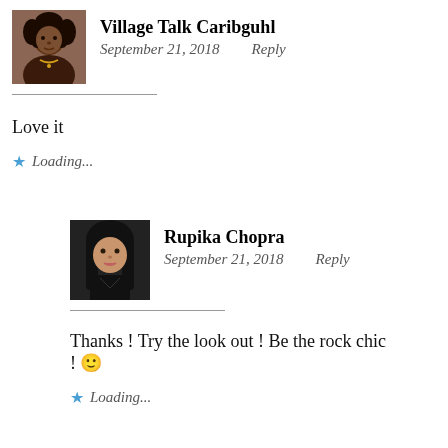[Figure (photo): Profile photo of Village Talk Caribguhl - woman with curly hair]
Village Talk Caribguhl
September 21, 2018   Reply
Love it
Loading...
[Figure (photo): Profile photo of Rupika Chopra - woman in dark outfit]
Rupika Chopra
September 21, 2018   Reply
Thanks ! Try the look out ! Be the rock chic ! 🙂
Loading...